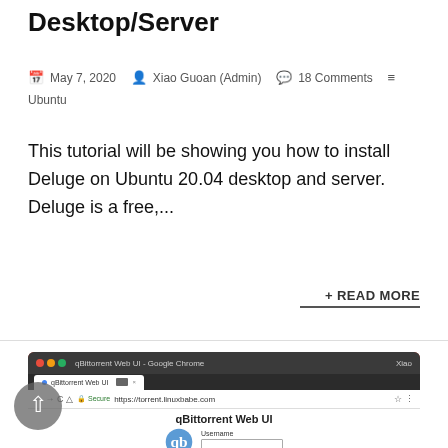Desktop/Server
May 7, 2020   Xiao Guoan (Admin)   18 Comments   Ubuntu
This tutorial will be showing you how to install Deluge on Ubuntu 20.04 desktop and server. Deluge is a free,...
+ READ MORE
[Figure (screenshot): Screenshot of qBittorrent Web UI in Google Chrome browser showing the qBittorrent logo and login form with Username field at https://torrent.linuxbabe.com]